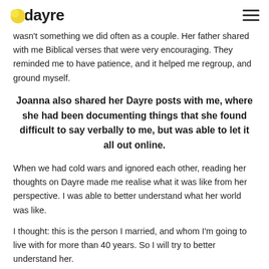dayre
wasn't something we did often as a couple. Her father shared with me Biblical verses that were very encouraging. They reminded me to have patience, and it helped me regroup, and ground myself.
Joanna also shared her Dayre posts with me, where she had been documenting things that she found difficult to say verbally to me, but was able to let it all out online.
When we had cold wars and ignored each other, reading her thoughts on Dayre made me realise what it was like from her perspective. I was able to better understand what her world was like.
I thought: this is the person I married, and whom I'm going to live with for more than 40 years. So I will try to better understand her.